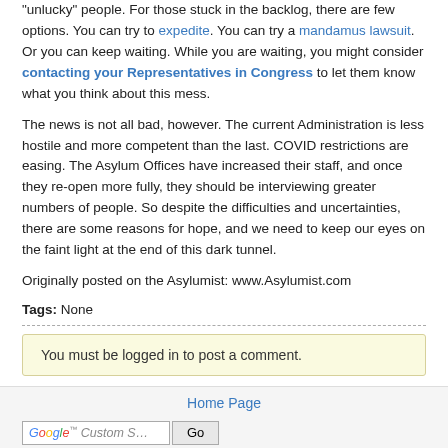"unlucky" people. For those stuck in the backlog, there are few options. You can try to expedite. You can try a mandamus lawsuit. Or you can keep waiting. While you are waiting, you might consider contacting your Representatives in Congress to let them know what you think about this mess.
The news is not all bad, however. The current Administration is less hostile and more competent than the last. COVID restrictions are easing. The Asylum Offices have increased their staff, and once they re-open more fully, they should be interviewing greater numbers of people. So despite the difficulties and uncertainties, there are some reasons for hope, and we need to keep our eyes on the faint light at the end of this dark tunnel.
Originally posted on the Asylumist: www.Asylumist.com
Tags: None
You must be logged in to post a comment.
Home Page
Advanced search
Immigration Daily
Archives